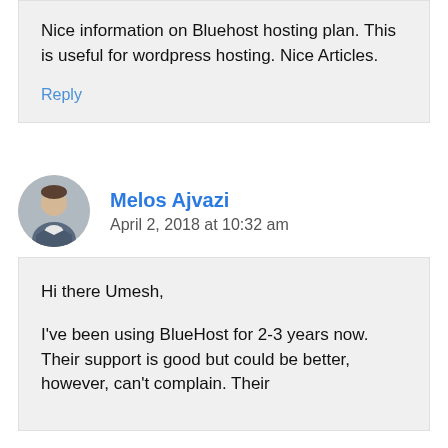Nice information on Bluehost hosting plan. This is useful for wordpress hosting. Nice Articles.
Reply
Melos Ajvazi
April 2, 2018 at 10:32 am
Hi there Umesh,

I've been using BlueHost for 2-3 years now. Their support is good but could be better, however, can't complain. Their